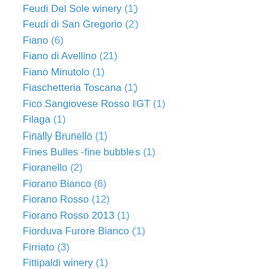Feudi Del Sole winery (1)
Feudi di San Gregorio (2)
Fiano (6)
Fiano di Avellino (21)
Fiano Minutolo (1)
Fiaschetteria Toscana (1)
Fico Sangiovese Rosso IGT (1)
Filaga (1)
Finally Brunello (1)
Fines Bulles -fine bubbles (1)
Fioranello (2)
Fiorano Bianco (6)
Fiorano Rosso (12)
Fiorano Rosso 2013 (1)
Fiorduva Furore Bianco (1)
Firriato (3)
Fittipaldi winery (1)
Flaccianello (1)
Flavio Al Velavevodetto (1)
Florence (1)